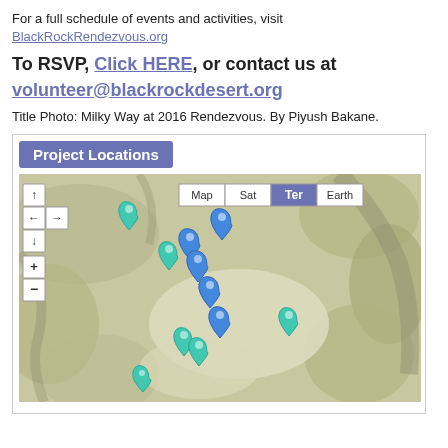For a full schedule of events and activities, visit BlackRockRendezvous.org
To RSVP, Click HERE, or contact us at volunteer@blackrockdesert.org
Title Photo: Milky Way at 2016 Rendezvous. By Piyush Bakane.
[Figure (map): Google-style terrain map showing Project Locations with blue and teal pin markers scattered across a desert landscape (Black Rock Desert area). Map controls visible: navigation arrows, zoom +/-, and view mode buttons (Map, Sat, Ter, Earth).]